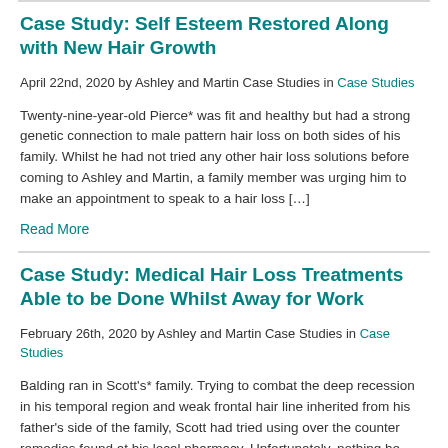Case Study: Self Esteem Restored Along with New Hair Growth
April 22nd, 2020 by Ashley and Martin Case Studies in Case Studies
Twenty-nine-year-old Pierce* was fit and healthy but had a strong genetic connection to male pattern hair loss on both sides of his family. Whilst he had not tried any other hair loss solutions before coming to Ashley and Martin, a family member was urging him to make an appointment to speak to a hair loss […]
Read More
Case Study: Medical Hair Loss Treatments Able to be Done Whilst Away for Work
February 26th, 2020 by Ashley and Martin Case Studies in Case Studies
Balding ran in Scott's* family. Trying to combat the deep recession in his temporal region and weak frontal hair line inherited from his father's side of the family, Scott had tried using over the counter remedies found at his local pharmacy. Unfortunately, nothing he tried worked and his hair continued to shed at an accelerated […]